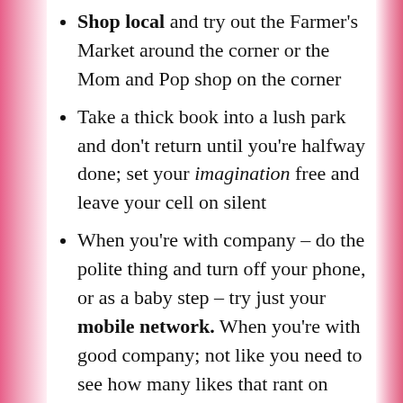Shop local and try out the Farmer's Market around the corner or the Mom and Pop shop on the corner
Take a thick book into a lush park and don't return until you're halfway done; set your imagination free and leave your cell on silent
When you're with company – do the polite thing and turn off your phone, or as a baby step – try just your mobile network. When you're with good company; not like you need to see how many likes that rant on Facebook got you while you're enjoying your surroundings, right?
Get off the grid and explore – find a new hike